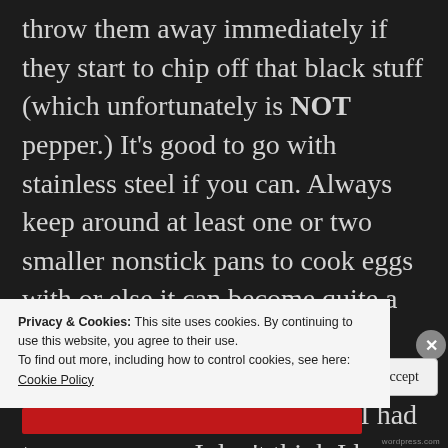throw them away immediately if they start to chip off that black stuff (which unfortunately is NOT pepper.) It's good to go with stainless steel if you can. Always keep around at least one or two smaller nonstick pans to cook eggs with or else it can become quite a pain in the ass to clean.

Mixing bowls. I used to think I had too many, now I don't think I have enough. They really
Privacy & Cookies: This site uses cookies. By continuing to use this website, you agree to their use.
To find out more, including how to control cookies, see here: Cookie Policy
Close and accept